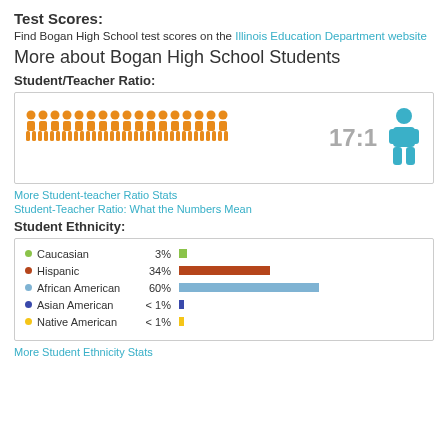Test Scores:
Find Bogan High School test scores on the Illinois Education Department website
More about Bogan High School Students
Student/Teacher Ratio:
[Figure (infographic): 17 orange person icons representing 17 students to 1 teacher (blue person icon), with text '17:1']
More Student-teacher Ratio Stats
Student-Teacher Ratio: What the Numbers Mean
Student Ethnicity:
[Figure (bar-chart): Student Ethnicity]
More Student Ethnicity Stats